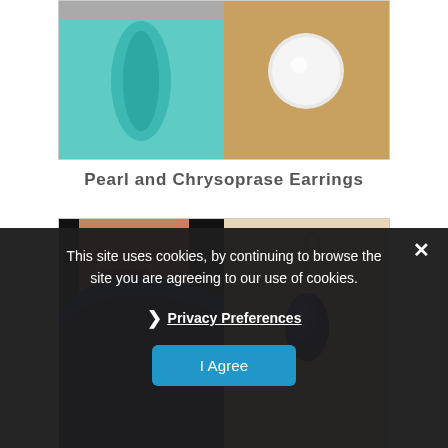[Figure (photo): Two-panel product photo: left panel shows a teal/turquoise glass vase with a dark patterned background, right panel shows a large pearl/crystal earring on a warm tan background.]
Pearl and Chrysoprase Earrings
[Figure (photo): Two-panel product photo: left panel shows a woman with dark hair, red lips, and a bright royal blue garment/scarf, right panel shows a teardrop-shaped lapis lazuli earring hanging on a wire hook against a light skin/neutral background.]
This site uses cookies, by continuing to browse the site you are agreeing to our use of cookies.
Privacy Preferences
I Agree